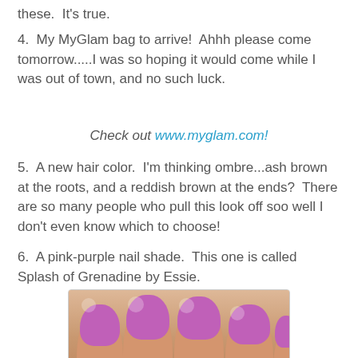these.  It's true.
4.  My MyGlam bag to arrive!  Ahhh please come tomorrow.....I was so hoping it would come while I was out of town, and no such luck.
Check out www.myglam.com!
5.  A new hair color.  I'm thinking ombre...ash brown at the roots, and a reddish brown at the ends?  There are so many people who pull this look off soo well I don't even know which to choose!
6.  A pink-purple nail shade.  This one is called Splash of Grenadine by Essie.
[Figure (photo): Close-up photo of a hand showing four fingers with pink-purple nail polish (Splash of Grenadine by Essie)]